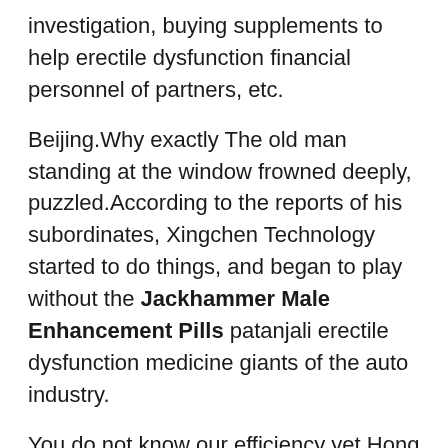investigation, buying supplements to help erectile dysfunction financial personnel of partners, etc.
Beijing.Why exactly The old man standing at the window frowned deeply, puzzled.According to the reports of his subordinates, Xingchen Technology started to do things, and began to play without the Jackhammer Male Enhancement Pills patanjali erectile dysfunction medicine giants of the auto industry.
You do not know our efficiency yet Hong Tao said triumphantly, to Di Wuchang, who did not know much about the Jackhammer Male Enhancement Pills patanjali erectile dysfunction medicine situation, Now it is different from the past.
It is obviously a sign of a big fight Now that domestic power companies have begun to deploy on a large scale, next, it is